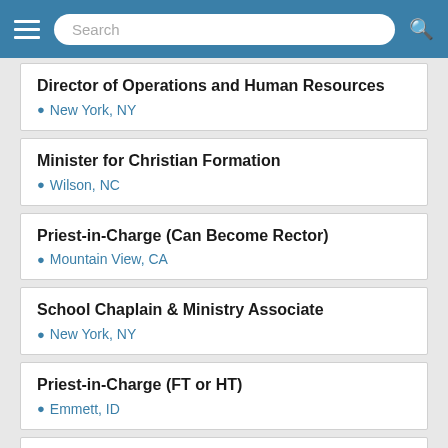Search
Director of Operations and Human Resources
New York, NY
Minister for Christian Formation
Wilson, NC
Priest-in-Charge (Can Become Rector)
Mountain View, CA
School Chaplain & Ministry Associate
New York, NY
Priest-in-Charge (FT or HT)
Emmett, ID
Rector
San Diego, CA
Associate Rector